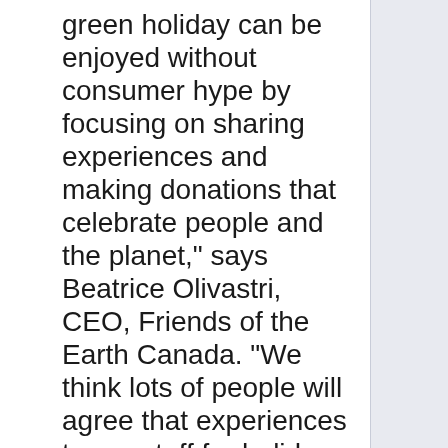green holiday can be enjoyed without consumer hype by focusing on sharing experiences and making donations that celebrate people and the planet," says Beatrice Olivastri, CEO, Friends of the Earth Canada. “We think lots of people will agree that experiences trump stuff for holiday giving and demonstrate it by signing on to the ‘Cut-the-Chains’ challenge."